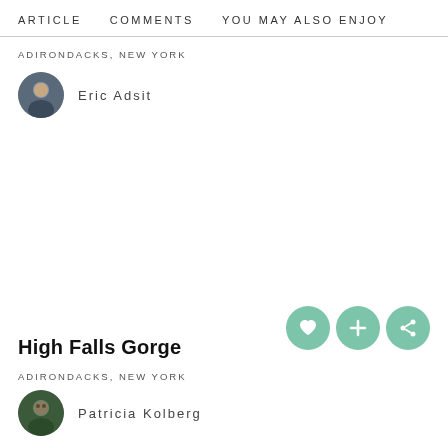ARTICLE    COMMENTS    YOU MAY ALSO ENJOY
ADIRONDACKS, NEW YORK
Eric Adsit
[Figure (illustration): Three circular green action buttons: heart/favorite, plus/add, and share icons]
High Falls Gorge
ADIRONDACKS, NEW YORK
Patricia Kolberg